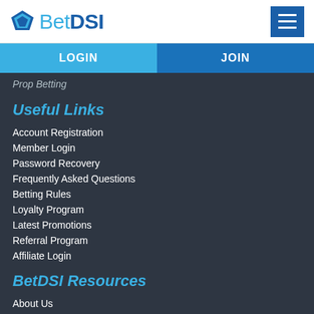BetDSI
LOGIN
JOIN
Prop Betting
Useful Links
Account Registration
Member Login
Password Recovery
Frequently Asked Questions
Betting Rules
Loyalty Program
Latest Promotions
Referral Program
Affiliate Login
BetDSI Resources
About Us
Contact and Support
Twitter